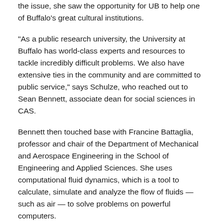the issue, she saw the opportunity for UB to help one of Buffalo's great cultural institutions.
“As a public research university, the University at Buffalo has world-class experts and resources to tackle incredibly difficult problems. We also have extensive ties in the community and are committed to public service,” says Schulze, who reached out to Sean Bennett, associate dean for social sciences in CAS.
Bennett then touched base with Francine Battaglia, professor and chair of the Department of Mechanical and Aerospace Engineering in the School of Engineering and Applied Sciences. She uses computational fluid dynamics, which is a tool to calculate, simulate and analyze the flow of fluids — such as air — to solve problems on powerful computers.
Bennett, who served as de facto project manager, then introduced Battaglia to Hart.
Battaglia and graduate student Vedant Joshi studied the layout of the concert hall, taking care to identify the air supply vents evenly spaced in the ceiling. Then, assisted by the UB Center for